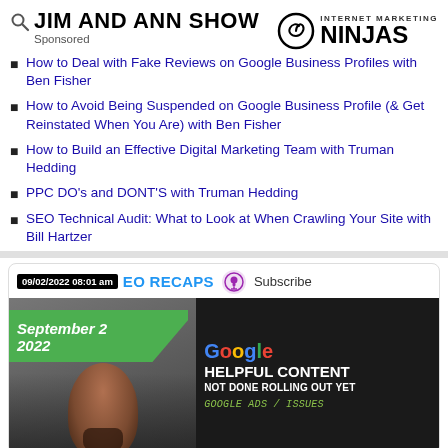[Figure (logo): Jim and Ann Show logo with search icon, and Internet Marketing Ninjas logo with spiral icon]
Sponsored
How to Deal with Fake Reviews on Google Business Profiles with Ben Fisher
How to Avoid Being Suspended on Google Business Profile (& Get Reinstated When You Are) with Ben Fisher
How to Build an Effective Digital Marketing Team with Truman Hedding
PPC DO's and DONT'S with Truman Hedding
SEO Technical Audit: What to Look at When Crawling Your Site with Bill Hartzer
[Figure (screenshot): Search News Buzz Video Recaps card with timestamp 09/02/2022 08:01 am, Subscribe button, and thumbnail showing September 2 2022 Google Helpful Content Not Done Rolling Out Yet with Google Ads Issues]